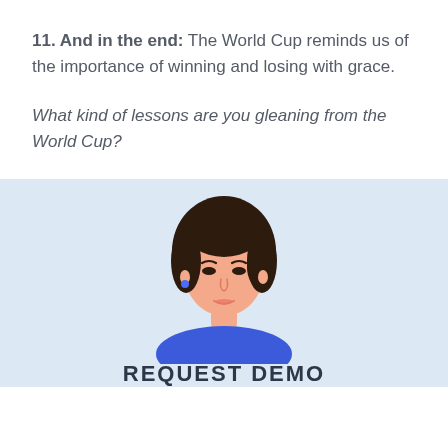11. And in the end: The World Cup reminds us of the importance of winning and losing with grace.
What kind of lessons are you gleaning from the World Cup?
[Figure (illustration): Illustrated avatar of a woman with dark hair, wearing a blue top, on a light blue background. Below is partial text reading REQUEST DEMO.]